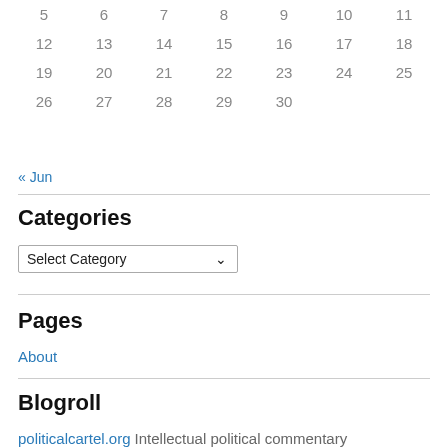| 5 | 6 | 7 | 8 | 9 | 10 | 11 |
| 12 | 13 | 14 | 15 | 16 | 17 | 18 |
| 19 | 20 | 21 | 22 | 23 | 24 | 25 |
| 26 | 27 | 28 | 29 | 30 |  |  |
« Jun
Categories
Select Category
Pages
About
Blogroll
politicalcartel.org Intellectual political commentary